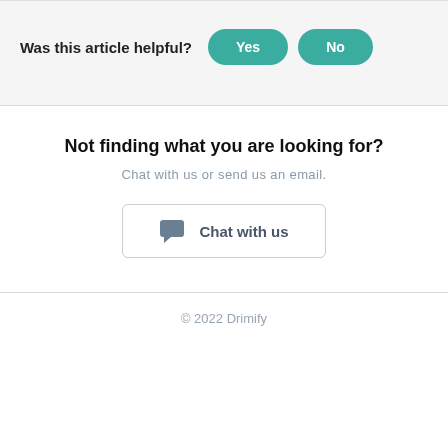Was this article helpful?
Yes
No
Not finding what you are looking for?
Chat with us or send us an email.
Chat with us
© 2022 Drimify